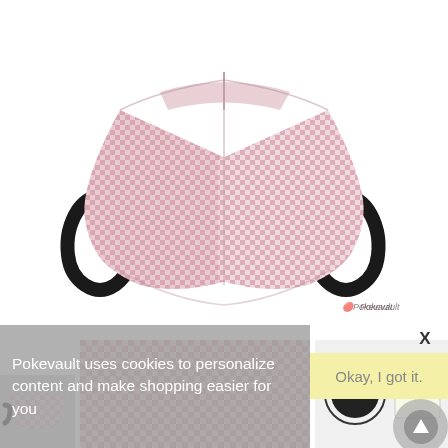[Figure (photo): Pink and white gingham/checkered fabric face mask with black elastic ear loops, shown on white background. Pokevault watermark visible bottom right of image.]
Pokevault uses cookies to personalize content and make shopping easier for you
X
Okay, I got it.
[Figure (photo): Small thumbnail of gingham face mask]
[Figure (photo): Close-up thumbnail of pink gingham fabric]
[Figure (photo): Thumbnail showing product with logos/badges]